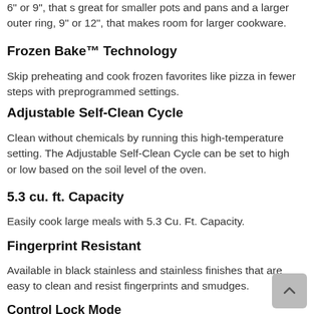6" or 9", that s great for smaller pots and pans and a larger outer ring, 9" or 12", that makes room for larger cookware.
Frozen Bake™ Technology
Skip preheating and cook frozen favorites like pizza in fewer steps with preprogrammed settings.
Adjustable Self-Clean Cycle
Clean without chemicals by running this high-temperature setting. The Adjustable Self-Clean Cycle can be set to high or low based on the soil level of the oven.
5.3 cu. ft. Capacity
Easily cook large meals with 5.3 Cu. Ft. Capacity.
Fingerprint Resistant
Available in black stainless and stainless finishes that are easy to clean and resist fingerprints and smudges.
Control Lock Mode
Disable the control panel to avoid unintended use
Broil Setting
When you place food close to the oven s top heating